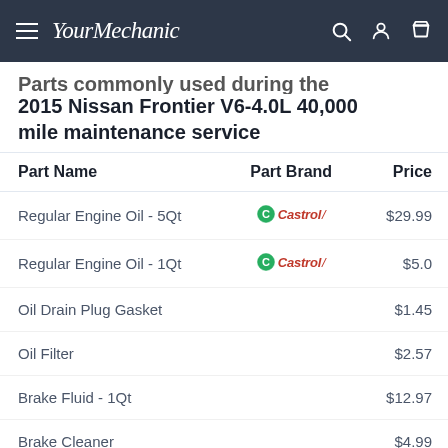YourMechanic
Parts commonly used during the 2015 Nissan Frontier V6-4.0L 40,000 mile maintenance service
| Part Name | Part Brand | Price |
| --- | --- | --- |
| Regular Engine Oil - 5Qt | Castrol | $29.99 |
| Regular Engine Oil - 1Qt | Castrol | $5.0 |
| Oil Drain Plug Gasket |  | $1.45 |
| Oil Filter |  | $2.57 |
| Brake Fluid - 1Qt |  | $12.97 |
| Brake Cleaner |  | $4.99 |
OTHER MAINTENANCE SCHEDULES